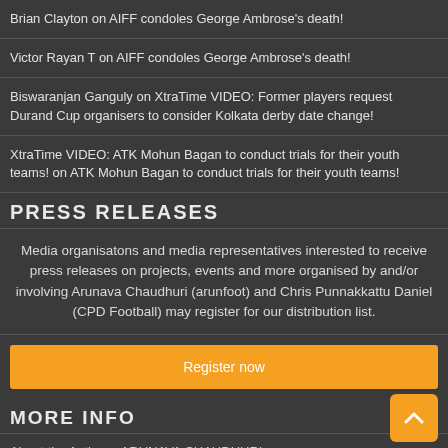Brian Clayton on AIFF condoles George Ambrose's death!
Victor Rayan T on AIFF condoles George Ambrose's death!
Biswaranjan Ganguly on XtraTime VIDEO: Former players request Durand Cup organisers to consider Kolkata derby date change!
XtraTime VIDEO: ATK Mohun Bagan to conduct trials for their youth teams! on ATK Mohun Bagan to conduct trials for their youth teams!
PRESS RELEASES
Media organisatons and media representatives interested to receive press releases on projects, events and more organised by and/or involving Arunava Chaudhuri (arunfoot) and Chris Punnakkattu Daniel (CPD Football) may register for our distribution list.
Register now
MORE INFO
About the Author – ARUNAVA CHAUDHURI
IMPRINT (IMPRESSUM)